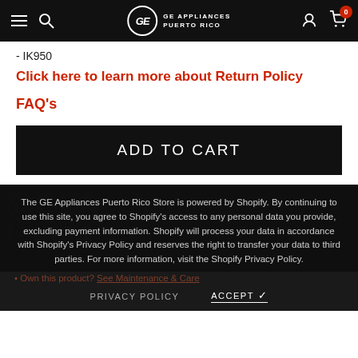GE Appliances Puerto Rico — Navigation bar with hamburger menu, search, logo, user icon, cart (0)
- IK950
Click here to learn more about Return Policy
FAQ's
ADD TO CART
The GE Appliances Puerto Rico Store is powered by Shopify. By continuing to use this site, you agree to Shopify's access to any personal data you provide, excluding payment information. Shopify will process your data in accordance with Shopify's Privacy Policy and reserves the right to transfer your data to third parties. For more information, visit the Shopify Privacy Policy.
• Own this product? See Maintenance & Care
PRIVACY POLICY    ACCEPT ✓